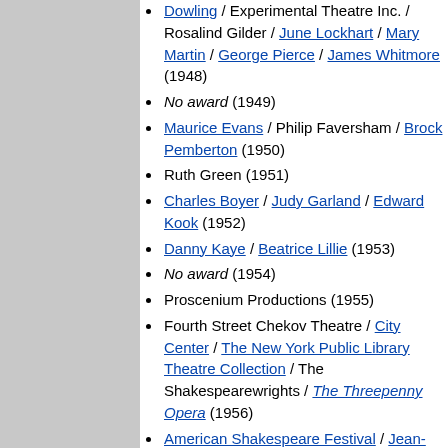Dowling / Experimental Theatre Inc. / Rosalind Gilder / June Lockhart / Mary Martin / George Pierce / James Whitmore (1948)
No award (1949)
Maurice Evans / Philip Faversham / Brock Pemberton (1950)
Ruth Green (1951)
Charles Boyer / Judy Garland / Edward Kook (1952)
Danny Kaye / Beatrice Lillie (1953)
No award (1954)
Proscenium Productions (1955)
Fourth Street Chekov Theatre / City Center / The New York Public Library Theatre Collection / The Shakespearewrights / The Threepenny Opera (1956)
American Shakespeare Festival / Jean-Louis Barrault / Robert Russell Bennett / William Hammerstein / Joseph Harbuck / Paul Shyre (1957)
Mrs. Martin Beck / New York Shakespeare Festival (1958)
Russel Crouse and Howard Lindsay / John Gielgud / Cast of La Plume de Ma Tante (1959)
Burgess Meredith and James Thurber / John D.